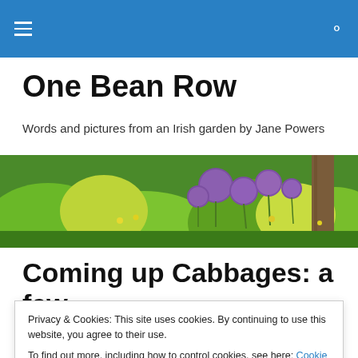One Bean Row — site navigation header bar
One Bean Row
Words and pictures from an Irish garden by Jane Powers
[Figure (photo): Garden banner photo showing purple allium globe flowers, yellow-green foliage, and a tree trunk against a lush green garden background]
Coming up Cabbages: a few
Privacy & Cookies: This site uses cookies. By continuing to use this website, you agree to their use.
To find out more, including how to control cookies, see here: Cookie Policy
Close and accept